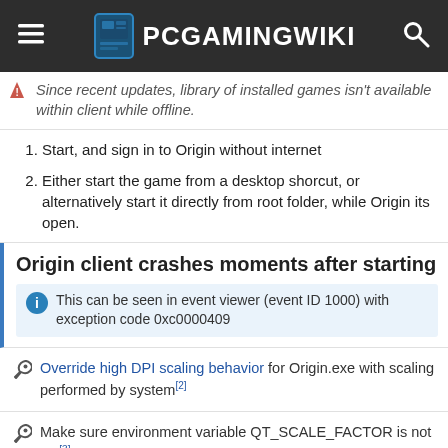PCGamingWiki
Since recent updates, library of installed games isn't available within client while offline.
1. Start, and sign in to Origin without internet
2. Either start the game from a desktop shorcut, or alternatively start it directly from root folder, while Origin its open.
Origin client crashes moments after starting
This can be seen in event viewer (event ID 1000) with exception code 0xc0000409
Override high DPI scaling behavior for Origin.exe with scaling performed by system[2]
Make sure environment variable QT_SCALE_FACTOR is not set[3]
Origin UI is completely blank or anyhow glitched
See Origin - Reset to defaults / Clear data cache